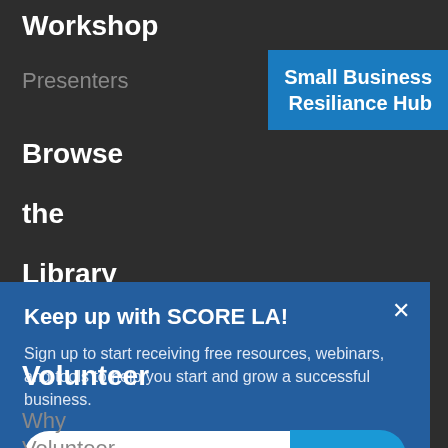Workshop
Presenters
Small Business Resiliance Hub
Browse
the
Library
Keep up with SCORE LA!
Sign up to start receiving free resources, webinars, and tools to help you start and grow a successful business.
email address
SUBMIT
Volunteer
Why
Volunteer